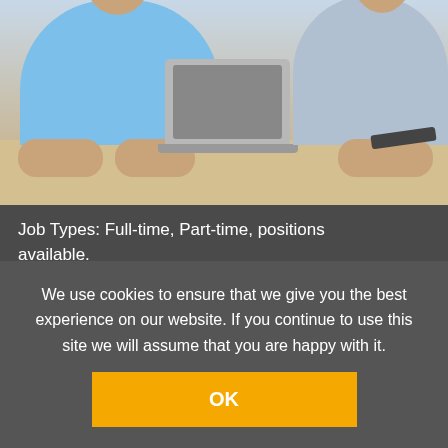[Figure (photo): Two people sitting at a table with a laptop between them, viewed from the front. A man in a blue t-shirt on the left and a woman in a light top on the right.]
Job Types: Full-time, Part-time, positions available.
Salary: Up to £9.50 per hour
The Hotel at Mill Farm has an opportunity for an experienced housekeeping assistant to join our team.
In order to deliver the highest standards, it is important th
We use cookies to ensure that we give you the best experience on our website. If you continue to use this site we will assume that you are happy with it.
OK